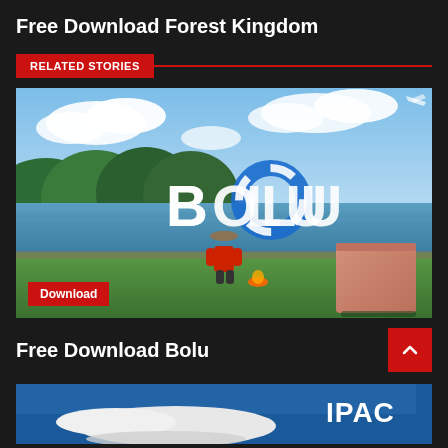Free Download Forest Kingdom
RELATED STORIES
[Figure (photo): Game screenshot showing BOLU title text over a scenic outdoor environment with a character in red outfit, blue life ring, and a wooden crate. A 'Download' badge is overlaid at the bottom left.]
Free Download Bolu
[Figure (photo): Partial view of an airplane with IPAC logo on blue background, partially cropped at bottom of page.]